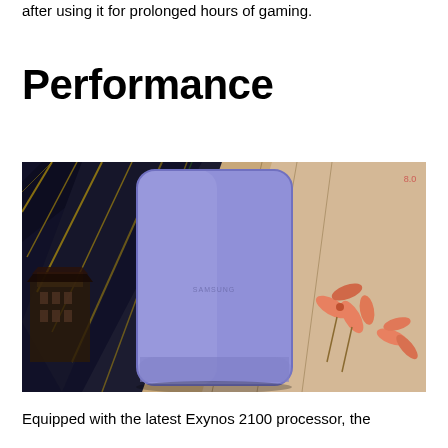after using it for prolonged hours of gaming.
Performance
[Figure (photo): Back of a purple/lavender Samsung smartphone lying on a decorative surface with Japanese-style artwork featuring a building, bamboo leaves, and floral motifs in dark blue, black, and gold tones.]
Equipped with the latest Exynos 2100 processor, the